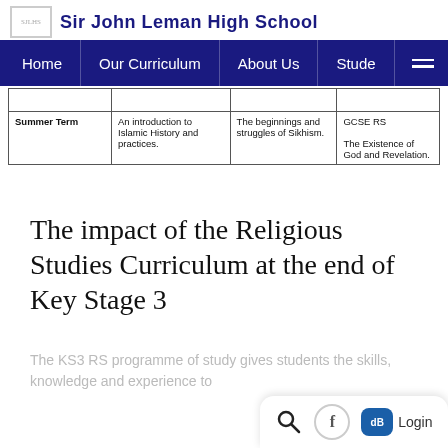Sir John Leman High School — navigation: Home | Our Curriculum | About Us | Students
|  |  |  |  |
| --- | --- | --- | --- |
|  |  |  |  |
| Summer Term | An introduction to Islamic History and practices. | The beginnings and struggles of Sikhism. | GCSE RS

The Existence of God and Revelation. |
The impact of the Religious Studies Curriculum at the end of Key Stage 3
The KS3 RS programme of study gives students the skills, knowledge and experience to...